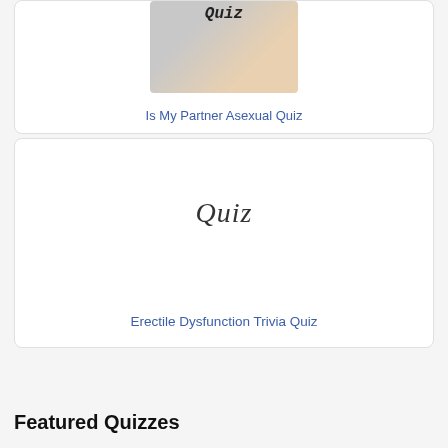[Figure (photo): Partial image of a shirt or fabric background with handwritten-style 'Quiz' text, warm beige and grey tones]
Is My Partner Asexual Quiz
[Figure (illustration): White card with handwritten-style 'Quiz' text in the center]
Erectile Dysfunction Trivia Quiz
Featured Quizzes